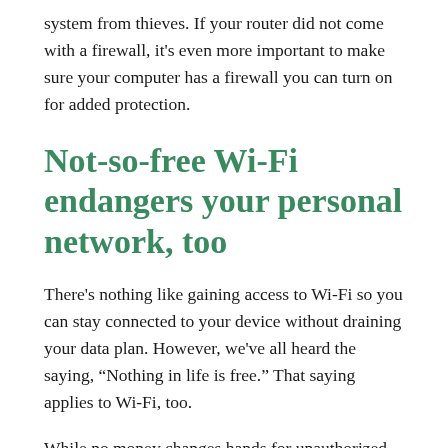system from thieves. If your router did not come with a firewall, it's even more important to make sure your computer has a firewall you can turn on for added protection.
Not-so-free Wi-Fi endangers your personal network, too
There's nothing like gaining access to Wi-Fi so you can stay connected to your device without draining your data plan. However, we've all heard the saying, “Nothing in life is free.” That saying applies to Wi-Fi, too.
While no money changes hands for unauthorized use of another person's Wi-Fi, you could pay a hefty price for your own online privacy. The contents of your personal device and other sensitive information can be put at risk when using free wireless networks you’re not approved to